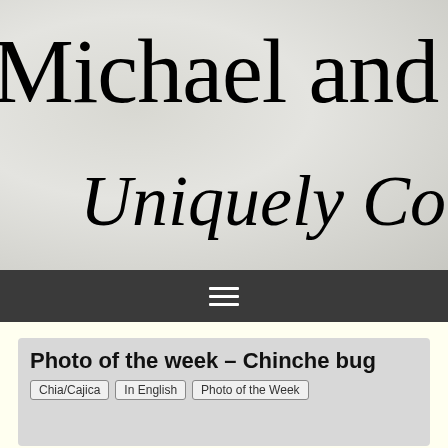Michael and C
Uniquely Colo
[Figure (screenshot): Navigation bar with hamburger menu icon (three horizontal lines) on dark background]
Photo of the week – Chinche bug
Chia/Cajica  In English  Photo of the Week
[Figure (photo): Close-up photo of a chinche bug showing black and yellow/cream markings]